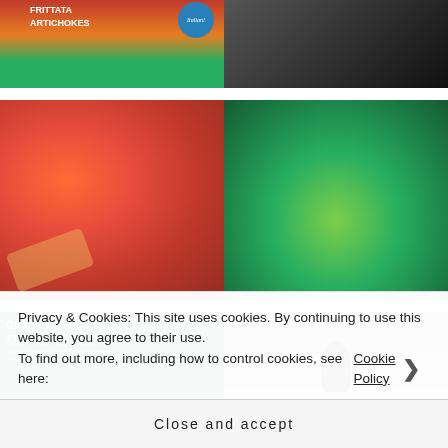[Figure (photo): Top-left: Partial view of Italian cookbook cover showing text FRITTATA, ARTICHOKES with blue badge saying Italian!]
[Figure (photo): Top-right: Partial photo of a building exterior with black iron fence/gate]
[Figure (photo): Middle-left: Close-up of shrimp/prawns in red tomato sauce in a white bowl]
[Figure (photo): Middle-right: Stuffed artichokes topped with breadcrumbs/cheese on a plate]
[Figure (photo): Bottom-left: Grandma Bees Italian Cookbook cover - Recipes from my Sicilian Grandmother]
[Figure (photo): Bottom-right: Interior restaurant scene with pendant lamp]
Privacy & Cookies: This site uses cookies. By continuing to use this website, you agree to their use.
To find out more, including how to control cookies, see here: Cookie Policy
Close and accept